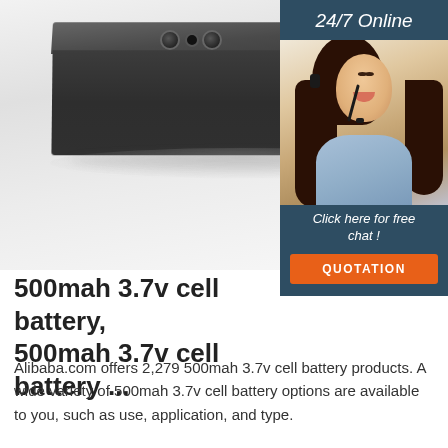[Figure (photo): A dark grey rectangular battery box/pack product on a white/light grey surface, with connectors on top and a label sticker on the front right side. Overlaid with a 24/7 Online chat widget showing a female customer service agent wearing a headset, with 'Click here for free chat!' text and an orange QUOTATION button.]
500mah 3.7v cell battery, 500mah 3.7v cell battery ...
Alibaba.com offers 2,279 500mah 3.7v cell battery products. A wide variety of 500mah 3.7v cell battery options are available to you, such as use, application, and type.